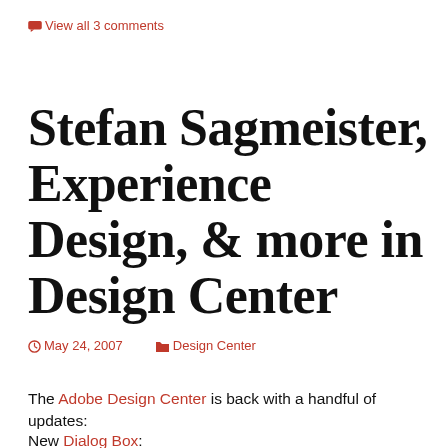🗨 View all 3 comments
Stefan Sagmeister, Experience Design, & more in Design Center
May 24, 2007    Design Center
The Adobe Design Center is back with a handful of updates:
New Dialog Box: